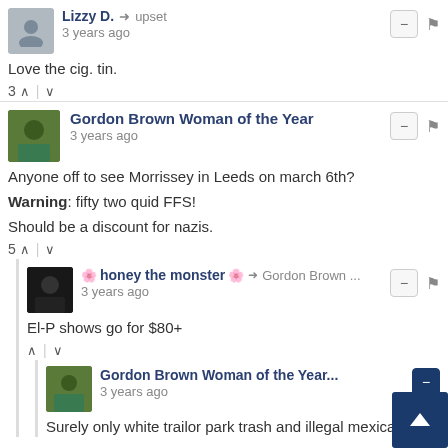Lizzy D. → upset
3 years ago
Love the cig. tin.
3 ^ | v
Gordon Brown Woman of the Year
3 years ago
Anyone off to see Morrissey in Leeds on march 6th?
Warning: fifty two quid FFS!
Should be a discount for nazis.
5 ^ | v
🌸 honey the monster 🌸 → Gordon Brown ...
3 years ago
El-P shows go for $80+
Gordon Brown Woman of the Year...
3 years ago
Surely only white trailor park trash and illegal mexicans